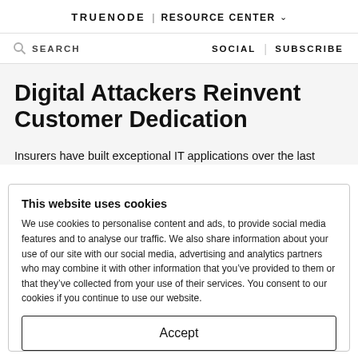TRUENODE | RESOURCE CENTER
SEARCH  SOCIAL | SUBSCRIBE
Digital Attackers Reinvent Customer Dedication
Insurers have built exceptional IT applications over the last
This website uses cookies
We use cookies to personalise content and ads, to provide social media features and to analyse our traffic. We also share information about your use of our site with our social media, advertising and analytics partners who may combine it with other information that you’ve provided to them or that they’ve collected from your use of their services. You consent to our cookies if you continue to use our website.
Accept